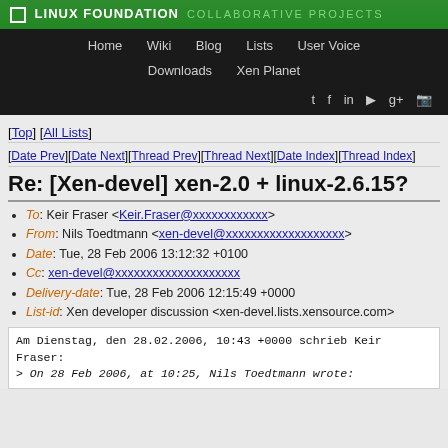LINUX FOUNDATION COLLABORATIVE PROJECTS
Home  Wiki  Blog  Lists  User Voice  Downloads  Xen Planet
Re: [Xen-devel] xen-2.0 + linux-2.6.15?
[Top] [All Lists]
[Date Prev][Date Next][Thread Prev][Thread Next][Date Index][Thread Index]
To: Keir Fraser <Keir.Fraser@xxxxxxxxxxxx>
From: Nils Toedtmann <xen-devel@xxxxxxxxxxxxxxxxxxx>
Date: Tue, 28 Feb 2006 13:12:32 +0100
Cc: xen-devel@xxxxxxxxxxxxxxxxxxxx
Delivery-date: Tue, 28 Feb 2006 12:15:49 +0000
List-id: Xen developer discussion <xen-devel.lists.xensource.com>
Am Dienstag, den 28.02.2006, 10:43 +0000 schrieb Keir Fraser:
> On 28 Feb 2006, at 10:25, Nils Toedtmann wrote: